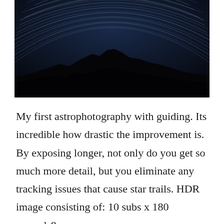[Figure (photo): Long-exposure astrophotography showing circular star trails in blue and white arcs against a dark night sky, with a silhouetted mountain ridge at the bottom of the frame.]
My first astrophotography with guiding. Its incredible how drastic the improvement is. By exposing longer, not only do you get so much more detail, but you eliminate any tracking issues that cause star trails. HDR image consisting of: 10 subs x 180 seconds8